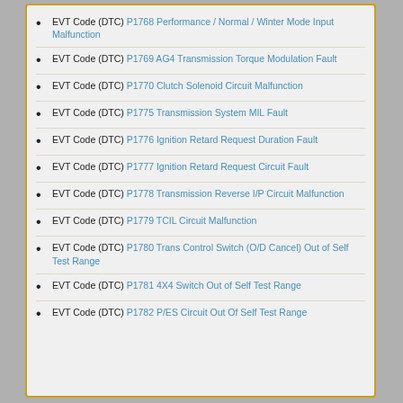EVT Code (DTC) P1768 Performance / Normal / Winter Mode Input Malfunction
EVT Code (DTC) P1769 AG4 Transmission Torque Modulation Fault
EVT Code (DTC) P1770 Clutch Solenoid Circuit Malfunction
EVT Code (DTC) P1775 Transmission System MIL Fault
EVT Code (DTC) P1776 Ignition Retard Request Duration Fault
EVT Code (DTC) P1777 Ignition Retard Request Circuit Fault
EVT Code (DTC) P1778 Transmission Reverse I/P Circuit Malfunction
EVT Code (DTC) P1779 TCIL Circuit Malfunction
EVT Code (DTC) P1780 Trans Control Switch (O/D Cancel) Out of Self Test Range
EVT Code (DTC) P1781 4X4 Switch Out of Self Test Range
EVT Code (DTC) P1782 P/ES Circuit Out Of Self Test Range